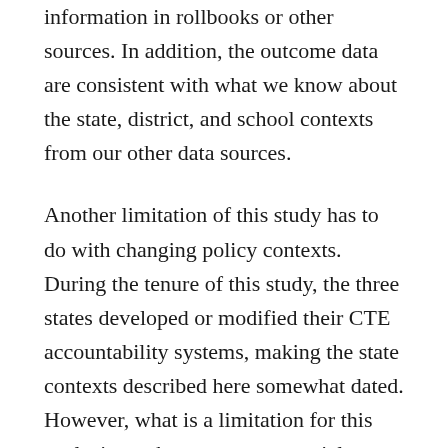to lect all records, and teachers did have the information in rollbooks or other sources. In addition, the outcome data are consistent with what we know about the state, district, and school contexts from our other data sources.
Another limitation of this study has to do with changing policy contexts. During the tenure of this study, the three states developed or modified their CTE accountability systems, making the state contexts described here somewhat dated. However, what is a limitation for this analysis can be seen as a potential benefit for practice. States and localities are having to decide what role industry certification will play in their schools. If these credentials become part of the CTE accountability system, this study shows that record